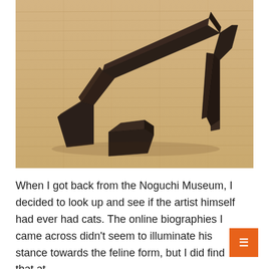[Figure (photo): A dark bronze/iron abstract sculpture with geometric angular forms on a light wood floor. The sculpture consists of connected rectangular and wedge-shaped blocks, with a separate smaller wedge piece placed nearby.]
When I got back from the Noguchi Museum, I decided to look up and see if the artist himself had ever had cats. The online biographies I came across didn't seem to illuminate his stance towards the feline form, but I did find that at